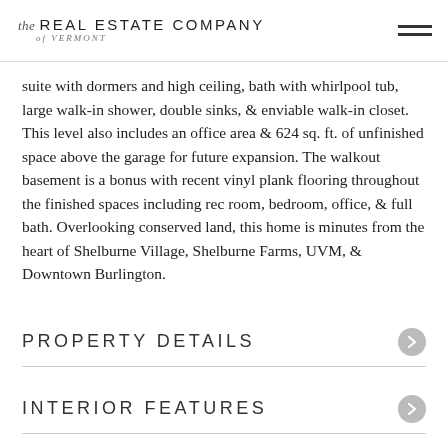the REAL ESTATE COMPANY of VERMONT
suite with dormers and high ceiling, bath with whirlpool tub, large walk-in shower, double sinks, & enviable walk-in closet. This level also includes an office area & 624 sq. ft. of unfinished space above the garage for future expansion. The walkout basement is a bonus with recent vinyl plank flooring throughout the finished spaces including rec room, bedroom, office, & full bath. Overlooking conserved land, this home is minutes from the heart of Shelburne Village, Shelburne Farms, UVM, & Downtown Burlington.
PROPERTY DETAILS
INTERIOR FEATURES
UTILITIES AND APPLIANCES